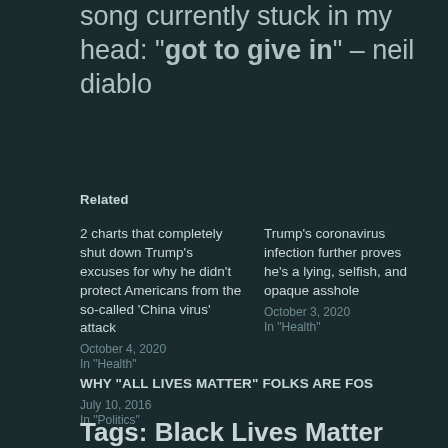song currently stuck in my head: "got to give in" – neil diablo
Related
2 charts that completely shut down Trump's excuses for why he didn't protect Americans from the so-called 'China virus' attack
October 4, 2020
In "Health"
Trump's coronavirus infection further proves he's a lying, selfish, and opaque asshole
October 3, 2020
In "Health"
WHY "ALL LIVES MATTER" FOLKS ARE FOS
July 10, 2016
In "Politics"
Tags: Black Lives Matter